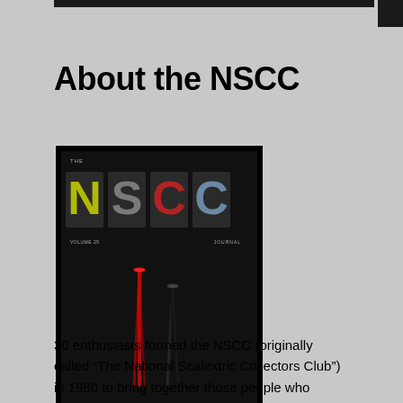About the NSCC
[Figure (photo): Cover of The NSCC Journal, Volume 25, showing large styled NSCC letters at the top with colorful car imagery, and two slot cars racing in motion blur on a dark background. Text at bottom reads 'FOR THE SLOT CAR ENTHUSIAST'.]
30 enthusiasts formed the NSCC (originally called “The National Scalextric Collectors Club”) in 1980 to bring together those people who collected Scalextric cars. The